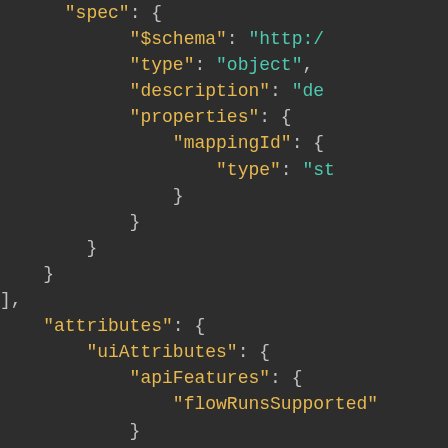[Figure (screenshot): A dark-themed code editor screenshot showing a JSON structure with keys 'spec', '$schema', 'type', 'description', 'properties', 'mappingId', 'attributes', 'uiAttributes', 'apiFeatures', 'flowRunsSupported', with closing braces at various indentation levels.]